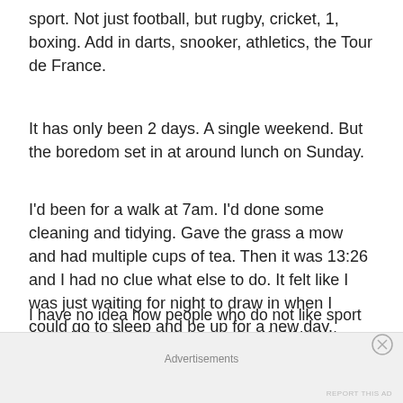sport. Not just football, but rugby, cricket, 1, boxing. Add in darts, snooker, athletics, the Tour de France.
It has only been 2 days. A single weekend. But the boredom set in at around lunch on Sunday.
I’d been for a walk at 7am. I’d done some cleaning and tidying. Gave the grass a mow and had multiple cups of tea. Then it was 13:26 and I had no clue what else to do. It felt like I was just waiting for night to draw in when I could go to sleep and be up for a new day.
I have no idea how people who do not like sport cope. What do they do at weekends? How do they fill their time?
Advertisements